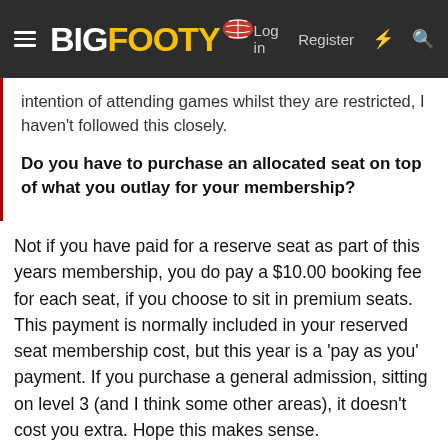[Figure (screenshot): BigFooty website navigation bar with logo, hamburger menu, Log in, Register, and search/lightning icons]
intention of attending games whilst they are restricted, I haven't followed this closely.
Do you have to purchase an allocated seat on top of what you outlay for your membership?
Not if you have paid for a reserve seat as part of this years membership, you do pay a $10.00 booking fee for each seat, if you choose to sit in premium seats. This payment is normally included in your reserved seat membership cost, but this year is a 'pay as you' payment. If you purchase a general admission, sitting on level 3 (and I think some other areas), it doesn't cost you extra. Hope this makes sense.
Like